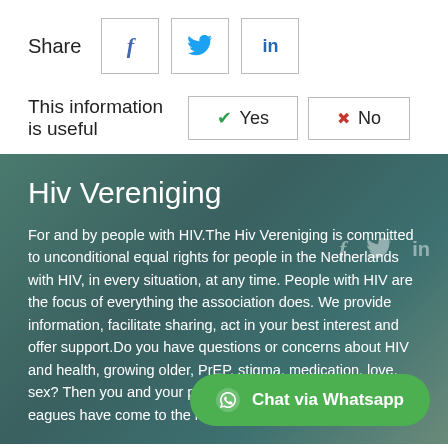Share
[Figure (infographic): Social share buttons for Facebook, Twitter, and LinkedIn]
This information is useful
[Figure (infographic): Yes/No feedback buttons with checkmark and X icons]
Hiv Vereniging
For and by people with HIV. The Hiv Vereniging is committed to unconditional equal rights for people in the Netherlands with HIV, in every situation, at any time. People with HIV are the focus of everything the association does. We provide information, facilitate sharing, act in your best interest and offer support. Do you have questions or concerns about HIV and health, growing older, PrEP, stigma, medication, love, sex? Then you and your partner, parents, family and colleagues have come to the right place.